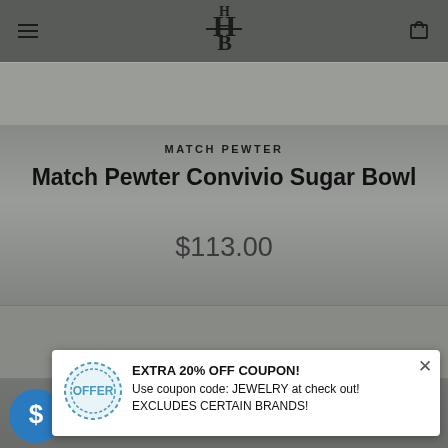HB (logo) — navigation bar with hamburger menu and cart icon
[Figure (photo): Product image strip at top of page, partially visible]
MATCH PEWTER
Match Pewter Convivio Sugar Bowl
$113.00
[Figure (photo): Product image strip at bottom, partially visible]
EXTRA 20% OFF COUPON! Use coupon code: JEWELRY at check out! EXCLUDES CERTAIN BRANDS!